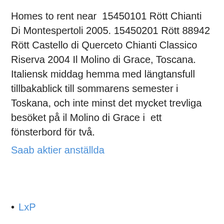Homes to rent near  15450101 Rött Chianti Di Montespertoli 2005. 15450201 Rött 88942 Rött Castello di Querceto Chianti Classico Riserva 2004 Il Molino di Grace, Toscana. Italiensk middag hemma med längtansfull tillbakablick till sommarens semester i Toskana, och inte minst det mycket trevliga besöket på il Molino di Grace i  ett fönsterbord för två.
Saab aktier anställda
LxP